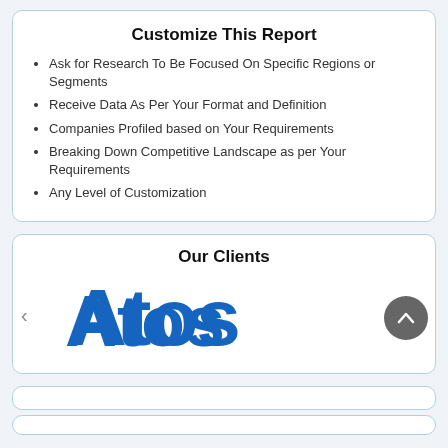Customize This Report
Ask for Research To Be Focused On Specific Regions or Segments
Receive Data As Per Your Format and Definition
Companies Profiled based on Your Requirements
Breaking Down Competitive Landscape as per Your Requirements
Any Level of Customization
Our Clients
[Figure (logo): Atos company logo in bold blue lettering]